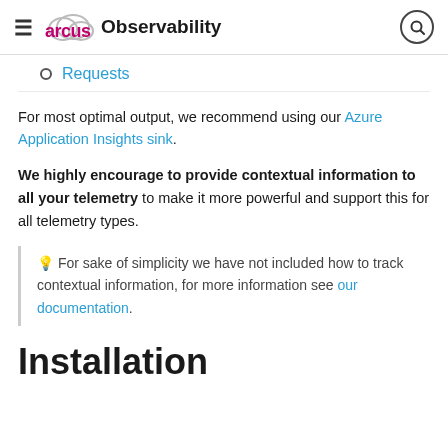arcus Observability
Requests
For most optimal output, we recommend using our Azure Application Insights sink.
We highly encourage to provide contextual information to all your telemetry to make it more powerful and support this for all telemetry types.
💡 For sake of simplicity we have not included how to track contextual information, for more information see our documentation.
Installation